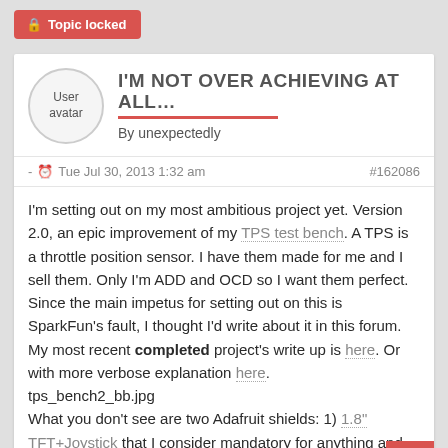Topic locked
I'M NOT OVER ACHIEVING AT ALL…
By unexpectedly
- Tue Jul 30, 2013 1:32 am  #162086
I'm setting out on my most ambitious project yet. Version 2.0, an epic improvement of my TPS test bench. A TPS is a throttle position sensor. I have them made for me and I sell them. Only I'm ADD and OCD so I want them perfect. Since the main impetus for setting out on this is SparkFun's fault, I thought I'd write about it in this forum. My most recent completed project's write up is here. Or with more verbose explanation here.
tps_bench2_bb.jpg
What you don't see are two Adafruit shields: 1) 1.8" TFT+Joystick that I consider mandatory for anything and 2) their proto shield, which is among the best for features.